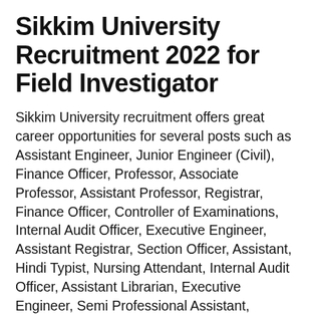Sikkim University Recruitment 2022 for Field Investigator
Sikkim University recruitment offers great career opportunities for several posts such as Assistant Engineer, Junior Engineer (Civil), Finance Officer, Professor, Associate Professor, Assistant Professor, Registrar, Finance Officer, Controller of Examinations, Internal Audit Officer, Executive Engineer, Assistant Registrar, Section Officer, Assistant, Hindi Typist, Nursing Attendant, Internal Audit Officer, Assistant Librarian, Executive Engineer, Semi Professional Assistant, Executive